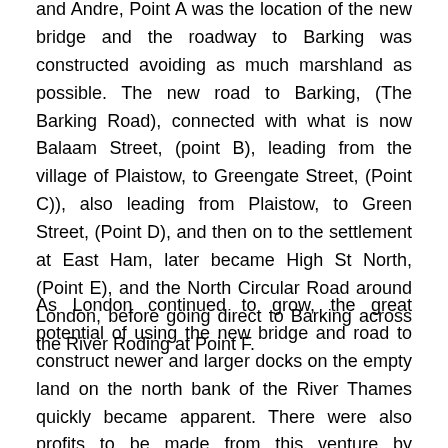and Andre, Point A was the location of the new bridge and the roadway to Barking was constructed avoiding as much marshland as possible. The new road to Barking, (The Barking Road), connected with what is now Balaam Street, (point B), leading from the village of Plaistow, to Greengate Street, (Point C)), also leading from Plaistow, to Green Street, (Point D), and then on to the settlement at East Ham, later became High St North, (Point E), and the North Circular Road around London, before going direct to Barking across the River Roding at Point F.
As London continued to grow, the great potential of using the new bridge and road to construct newer and larger docks on the empty land on the north bank of the River Thames quickly became apparent. There were also profits to be made from this venture by shortening by at least a